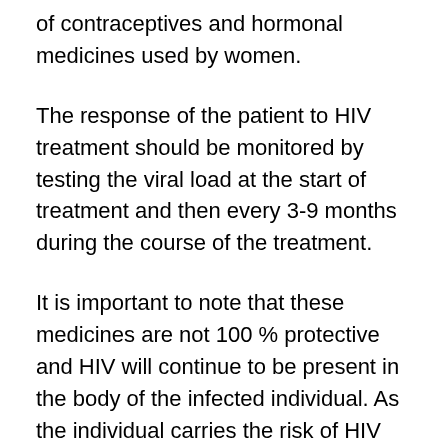of contraceptives and hormonal medicines used by women.
The response of the patient to HIV treatment should be monitored by testing the viral load at the start of treatment and then every 3-9 months during the course of the treatment.
It is important to note that these medicines are not 100 % protective and HIV will continue to be present in the body of the infected individual. As the individual carries the risk of HIV transmission, he should take precautionary measures like avoiding unprotected sex, in order to prevent passing on the infection to another individual.